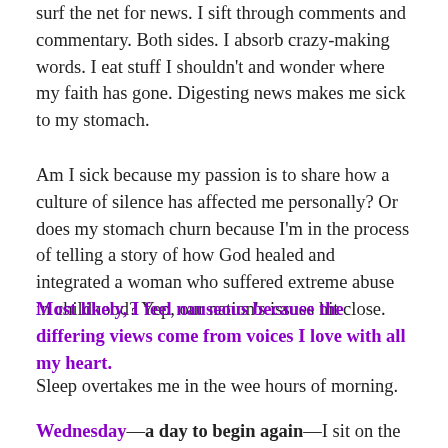surf the net for news. I sift through comments and commentary. Both sides. I absorb crazy-making words. I eat stuff I shouldn't and wonder where my faith has gone. Digesting news makes me sick to my stomach.
Am I sick because my passion is to share how a culture of silence has affected me personally? Or does my stomach churn because I'm in the process of telling a story of how God healed and integrated a woman who suffered extreme abuse in childhood? Yep, our nation's issues hit close.
Most likely, I feel nauseous because the differing views come from voices I love with all my heart.
Sleep overtakes me in the wee hours of morning.
Wednesday—a day to begin again—I sit on the front